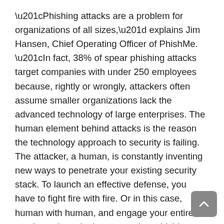“Phishing attacks are a problem for organizations of all sizes,” explains Jim Hansen, Chief Operating Officer of PhishMe. “In fact, 38% of spear phishing attacks target companies with under 250 employees because, rightly or wrongly, attackers often assume smaller organizations lack the advanced technology of large enterprises. The human element behind attacks is the reason the technology approach to security is failing. The attacker, a human, is constantly inventing new ways to penetrate your existing security stack. To launch an effective defense, you have to fight fire with fire. Or in this case, human with human, and engage your entire employee base in the war against phishing attacks.”
Simulator SBE is a quickly deployed and easy to manage SaaS application and delivers such powerful key features as real-life phishing experiences